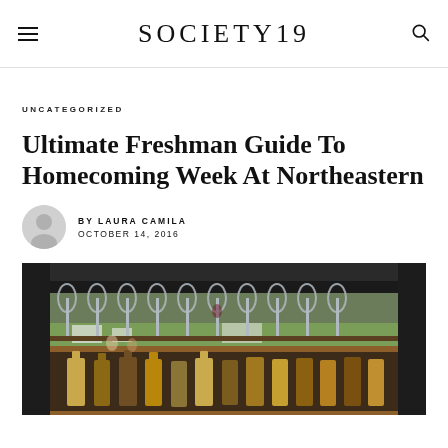SOCIETY19
UNCATEGORIZED
Ultimate Freshman Guide To Homecoming Week At Northeastern
BY LAURA CAMILA
OCTOBER 14, 2016
[Figure (photo): Open car trunk with wine glasses arranged on a rack and bottles of liquor below, with a green outdoor event field visible in the background]